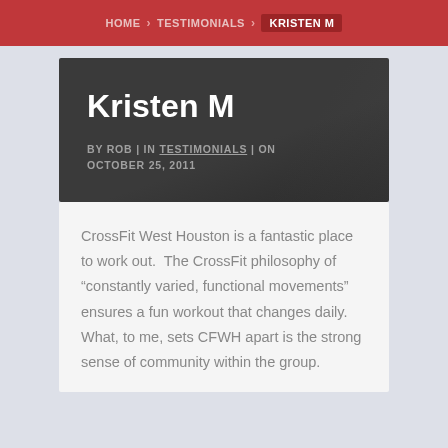HOME > TESTIMONIALS > KRISTEN M
Kristen M
BY ROB | IN TESTIMONIALS | ON OCTOBER 25, 2011
CrossFit West Houston is a fantastic place to work out.  The CrossFit philosophy of “constantly varied, functional movements” ensures a fun workout that changes daily.  What, to me, sets CFWH apart is the strong sense of community within the group.